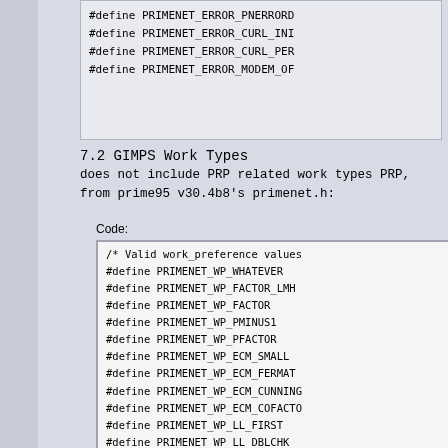#define PRIMENET_ERROR_PNERROR
#define PRIMENET_ERROR_CURL_INI
#define PRIMENET_ERROR_CURL_PER
#define PRIMENET_ERROR_MODEM_OF
7.2 GIMPS Work Types
does not include PRP related work types PRP,
from prime95 v30.4b8's primenet.h:
Code:
/* Valid work_preference values
#define PRIMENET_WP_WHATEVER
#define PRIMENET_WP_FACTOR_LMH
#define PRIMENET_WP_FACTOR
#define PRIMENET_WP_PMINUS1
#define PRIMENET_WP_PFACTOR
#define PRIMENET_WP_ECM_SMALL
#define PRIMENET_WP_ECM_FERMAT
#define PRIMENET_WP_ECM_CUNNING
#define PRIMENET_WP_ECM_COFACTO
#define PRIMENET_WP_LL_FIRST
#define PRIMENET_WP_LL_DBLCHK
#define PRIMENET_WP_LL_WORLD_RE
#define PRIMENET_WP_LL_100M
#define PRIMENET_WP_PRP_FIRST
#define PRIMENET_WP_PRP_DBLCHK